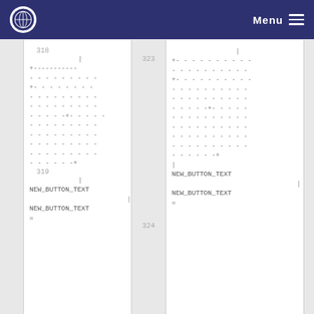Menu
318
|+-------------
-------------
+-------------
-------------
-------------
-----+-------
-------------
-------------
-------------
-------------
------+
319
|
NEW_BUTTON_TEXT
|
NEW_BUTTON_TEXT
=
323
|+---------------
---------------
+---------------
---------------
---------------
-----+---------
---------------
---------------
---------------
---------------
------+
324
|
NEW_BUTTON_TEXT
|
NEW_BUTTON_TEXT
=